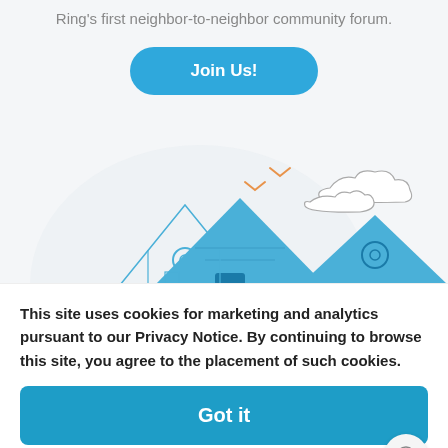Ring's first neighbor-to-neighbor community forum.
[Figure (illustration): A blue 'Join Us!' rounded button above an illustration of houses with mountains in blue tones, birds in orange, and clouds.]
This site uses cookies for marketing and analytics pursuant to our Privacy Notice. By continuing to browse this site, you agree to the placement of such cookies.
Got it
Manage Settings